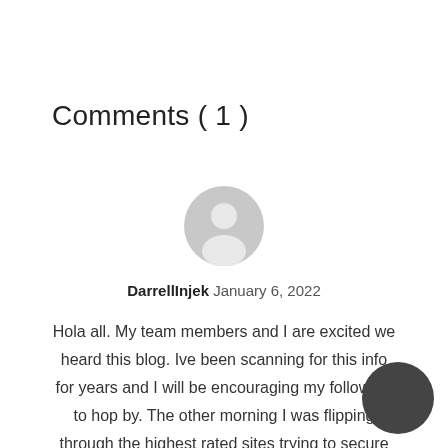Comments ( 1 )
[Figure (illustration): Default user avatar icon — grey circle with grey silhouette of a person]
DarrellInjek January 6, 2022
Hola all. My team members and I are excited we heard this blog. Ive been scanning for this info for years and I will be encouraging my followers to hop by. The other morning I was flipping through the highest rated sites trying to secure an answer to my revolving questions.